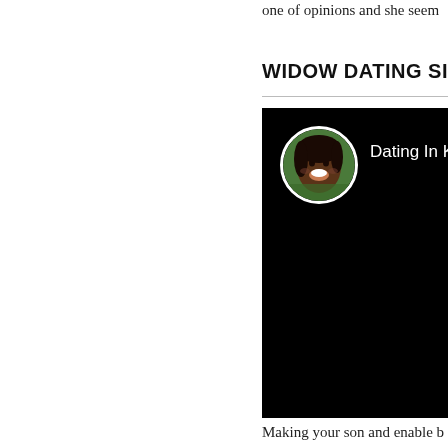one of opinions and she seem
WIDOW DATING SIT
[Figure (screenshot): A YouTube or video thumbnail with a black background showing a circular avatar photo of a smiling Black woman with braids, and text 'Dating In Korea a' next to the avatar in white.]
Making your son and enable b